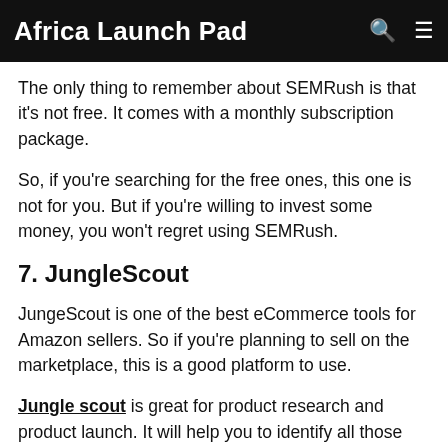Africa Launch Pad
The only thing to remember about SEMRush is that it's not free. It comes with a monthly subscription package.
So, if you're searching for the free ones, this one is not for you. But if you're willing to invest some money, you won't regret using SEMRush.
7. JungleScout
JungeScout is one of the best eCommerce tools for Amazon sellers. So if you're planning to sell on the marketplace, this is a good platform to use.
Jungle scout is great for product research and product launch. It will help you to identify all those highly-demanded products you can sell on Amazon.
You can also do your keyword research easily if you're